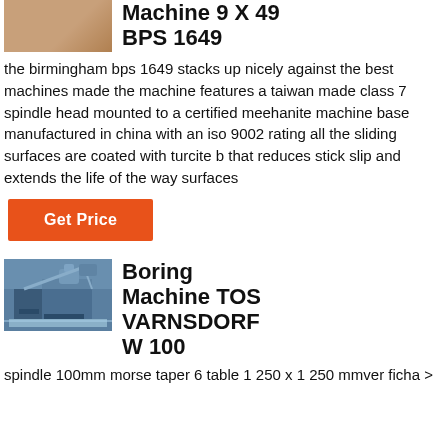[Figure (photo): Partial photo of a milling machine, top portion visible]
Machine 9 X 49 BPS 1649
the birmingham bps 1649 stacks up nicely against the best machines made the machine features a taiwan made class 7 spindle head mounted to a certified meehanite machine base manufactured in china with an iso 9002 rating all the sliding surfaces are coated with turcite b that reduces stick slip and extends the life of the way surfaces
Get Price
[Figure (photo): Photo of a Boring Machine TOS VARNSDORF W 100 outdoors]
Boring Machine TOS VARNSDORF W 100
spindle 100mm morse taper 6 table 1 250 x 1 250 mmver ficha >